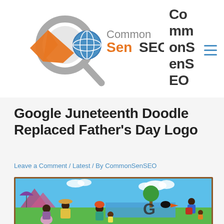[Figure (logo): CommonSenSEO logo with magnifying glass and checkmark graphic, orange and gray colors]
CommonSenSEO
Google Juneteenth Doodle Replaced Father's Day Logo
Leave a Comment / Latest / By CommonSenSEO
[Figure (photo): Colorful painting depicting a family gathering outdoors near water, with people in bright clothing, trees, mountains, and a Google letter G visible]